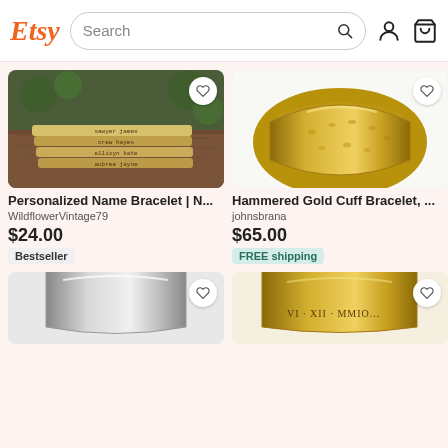Etsy — Search bar with user and cart icons
[Figure (screenshot): Product photo: Stacked gold personalized name bracelets engraved with 'sawyer james', 'crew hayes', 'ellisyn kate', 'aubree jayne' on a wooden surface with green foliage background]
Personalized Name Bracelet | N...
WildflowerVintage79
$24.00
Bestseller
[Figure (screenshot): Product photo: Wide hammered gold cuff bracelet on white background]
Hammered Gold Cuff Bracelet, ...
johnsbrana
$65.00
FREE shipping
[Figure (screenshot): Product photo: Silver cuff bracelet partially visible at bottom of page]
[Figure (screenshot): Product photo: Gold cuff bracelet with roman numerals partially visible at bottom of page]